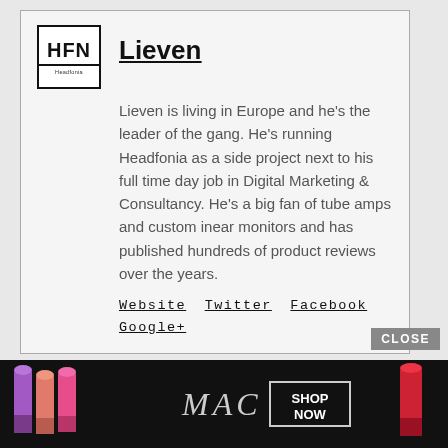[Figure (logo): HFN Headfonia logo in a bordered box]
Lieven
Lieven is living in Europe and he's the leader of the gang. He's running Headfonia as a side project next to his full time day job in Digital Marketing & Consultancy. He's a big fan of tube amps and custom inear monitors and has published hundreds of product reviews over the years.
Website   Twitter   Facebook
Google+
[Figure (advertisement): MAC cosmetics ad banner with lipsticks and SHOP NOW button, with CLOSE button above]